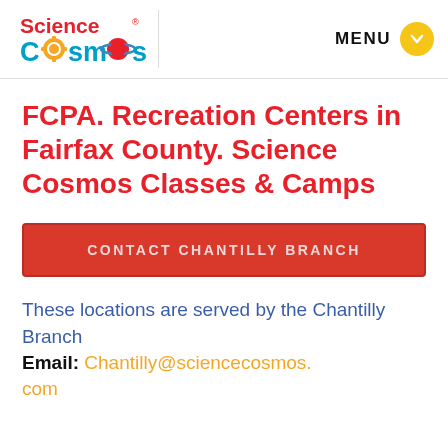[Figure (logo): Science Cosmos logo with colorful text and gear/planet icons]
FCPA. Recreation Centers in Fairfax County. Science Cosmos Classes & Camps
CONTACT CHANTILLY BRANCH
These locations are served by the Chantilly Branch Email: Chantilly@sciencecosmos.com